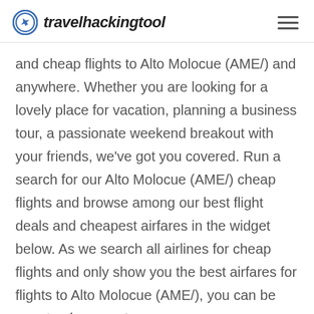travelhackingtool
and cheap flights to Alto Molocue (AME/) and anywhere. Whether you are looking for a lovely place for vacation, planning a business tour, a passionate weekend breakout with your friends, we've got you covered. Run a search for our Alto Molocue (AME/) cheap flights and browse among our best flight deals and cheapest airfares in the widget below. As we search all airlines for cheap flights and only show you the best airfares for flights to Alto Molocue (AME/), you can be sure to always get